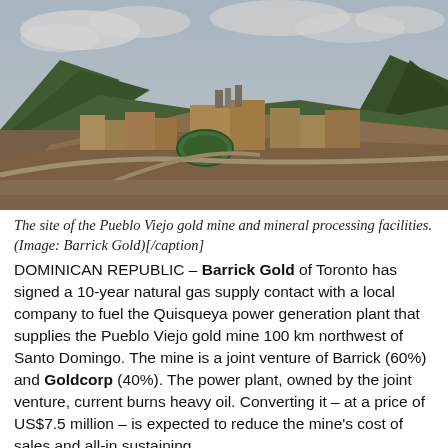[Figure (photo): Aerial view of the Pueblo Viejo gold mine and mineral processing facilities, showing industrial buildings, tanks, and surrounding green hills and mountains.]
The site of the Pueblo Viejo gold mine and mineral processing facilities. (Image: Barrick Gold)[/caption]
DOMINICAN REPUBLIC – Barrick Gold of Toronto has signed a 10-year natural gas supply contact with a local company to fuel the Quisqueya power generation plant that supplies the Pueblo Viejo gold mine 100 km northwest of Santo Domingo. The mine is a joint venture of Barrick (60%) and Goldcorp (40%). The power plant, owned by the joint venture, current burns heavy oil. Converting it – at a price of US$7.5 million – is expected to reduce the mine's cost of sales and all-in sustaining